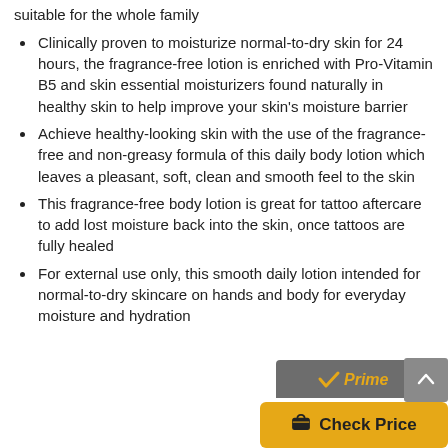suitable for the whole family
Clinically proven to moisturize normal-to-dry skin for 24 hours, the fragrance-free lotion is enriched with Pro-Vitamin B5 and skin essential moisturizers found naturally in healthy skin to help improve your skin's moisture barrier
Achieve healthy-looking skin with the use of the fragrance-free and non-greasy formula of this daily body lotion which leaves a pleasant, soft, clean and smooth feel to the skin
This fragrance-free body lotion is great for tattoo aftercare to add lost moisture back into the skin, once tattoos are fully healed
For external use only, this smooth daily lotion intended for normal-to-dry skincare on hands and body for everyday moisture and hydration
[Figure (logo): Amazon Prime logo with checkmark and 'Prime' text in orange/gold]